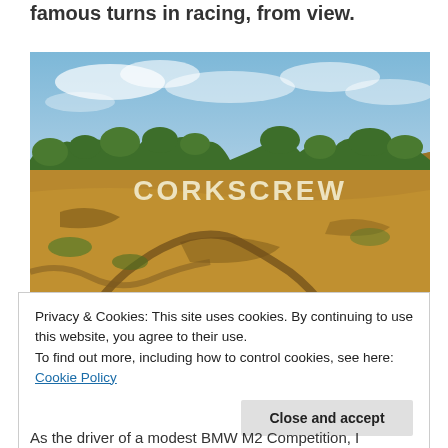famous turns in racing, from view.
[Figure (photo): Hillside landscape with dry golden grass, scattered trees, a winding dirt path, and large white letters spelling 'CORKSCREW' on the hill, under a blue sky with clouds.]
Privacy & Cookies: This site uses cookies. By continuing to use this website, you agree to their use.
To find out more, including how to control cookies, see here: Cookie Policy
As the driver of a modest BMW M2 Competition, I